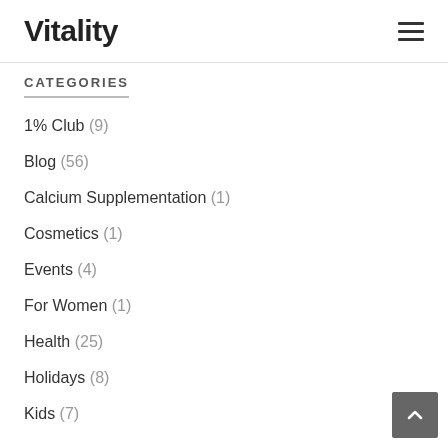Vitality
CATEGORIES
1% Club (9)
Blog (56)
Calcium Supplementation (1)
Cosmetics (1)
Events (4)
For Women (1)
Health (25)
Holidays (8)
Kids (7)